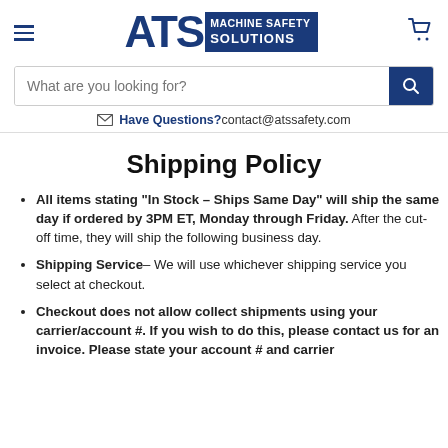ATS Machine Safety Solutions
What are you looking for?
Have Questions? contact@atssafety.com
Shipping Policy
All items stating “In Stock – Ships Same Day” will ship the same day if ordered by 3PM ET, Monday through Friday. After the cut-off time, they will ship the following business day.
Shipping Service– We will use whichever shipping service you select at checkout.
Checkout does not allow collect shipments using your carrier/account #. If you wish to do this, please contact us for an invoice. Please state your account # and carrier